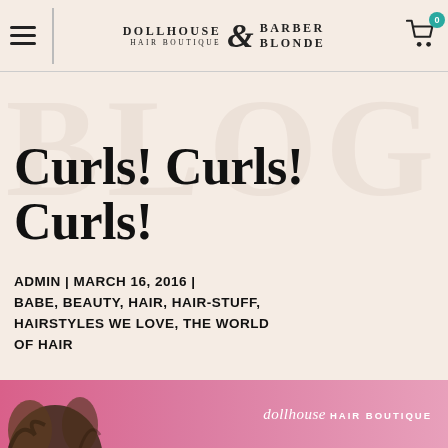DOLLHOUSE HAIR BOUTIQUE & BARBER BLONDE
Curls! Curls! Curls!
ADMIN | MARCH 16, 2016 | BABE, BEAUTY, HAIR, HAIR-STUFF, HAIRSTYLES WE LOVE, THE WORLD OF HAIR
[Figure (photo): Bottom strip showing a partial face with curly hair on a pink/rose background, with dollhouse HAIR BOUTIQUE logo text on the right]